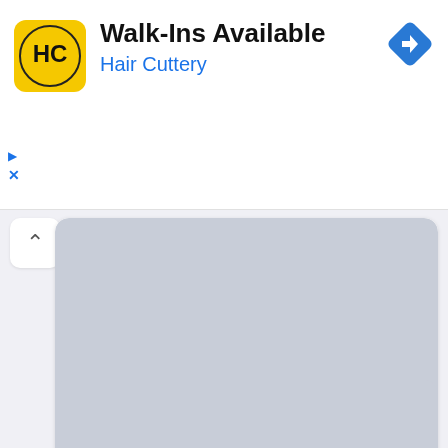[Figure (screenshot): Hair Cuttery advertisement banner with yellow logo, 'Walk-Ins Available' heading, 'Hair Cuttery' subtitle in blue, and a blue navigation diamond icon on the right]
Walk-Ins Available
Hair Cuttery
[Figure (screenshot): Search result card showing a gray image placeholder and query text 'winter is coming meme' with topic tags 'Game Of Thrones' and 'Hollywood']
winter is coming meme
Game Of Thrones
Hollywood